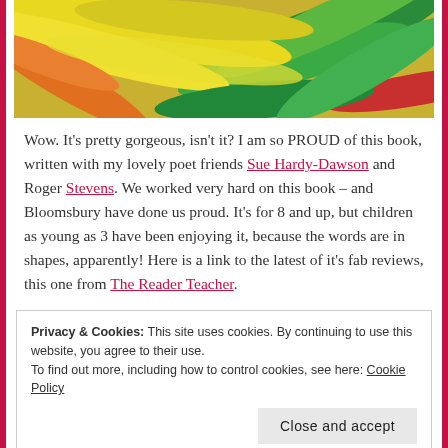[Figure (photo): Colorful feathers in yellow, green, orange, and red arranged decoratively — book cover image snippet]
Wow. It's pretty gorgeous, isn't it? I am so PROUD of this book, written with my lovely poet friends Sue Hardy-Dawson and Roger Stevens. We worked very hard on this book – and Bloomsbury have done us proud. It's for 8 and up, but children as young as 3 have been enjoying it, because the words are in shapes, apparently! Here is a link to the latest of it's fab reviews, this one from The Reader Teacher.
Privacy & Cookies: This site uses cookies. By continuing to use this website, you agree to their use.
To find out more, including how to control cookies, see here: Cookie Policy
@Lizpoet @SueHardyDawson and @PoetryZone PLUS a